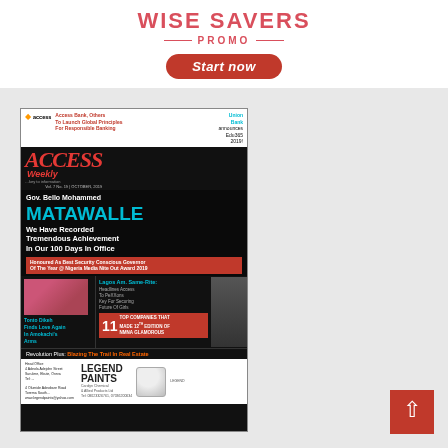[Figure (infographic): Wise Savers Promo advertisement banner with 'WISE SAVERS' in large pink/red text, 'PROMO' subtitle with decorative lines, and a red 'Start now' button]
[Figure (photo): Magazine cover of Access Weekly, October 2019. Features Gov. Bello Mohammed Matawalle walking in casual attire. Headlines include: 'We Have Recorded Tremendous Achievement In Our 100 Days In Office', 'Honoured As Best Security Conscious Governor Of The Year @ Nigeria Media Nite Out Award 2019', 'Tonto Dikeh Finds Love Again In Amokachi's Arms', '11 TOP COMPANIES THAT MADE 12th EDITION OF NMNA GLAMOROUS', 'Revolution Plus: Blazing The Trail In Real Estate', Legend Paints advertisement at bottom. Access Bank story: 'Access Bank, Others To Launch Global Principles For Responsible Banking'. Union Bank announces Edu365 2019.]